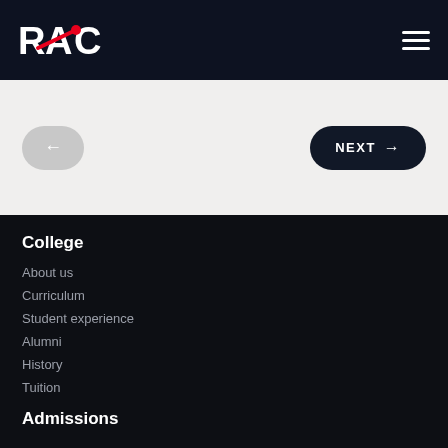RAC logo and navigation header
[Figure (screenshot): Navigation area with back arrow button (gray pill) on left and NEXT arrow button (dark pill) on right, on a light beige background]
College
About us
Curriculum
Student experience
Alumni
History
Tuition
Admissions